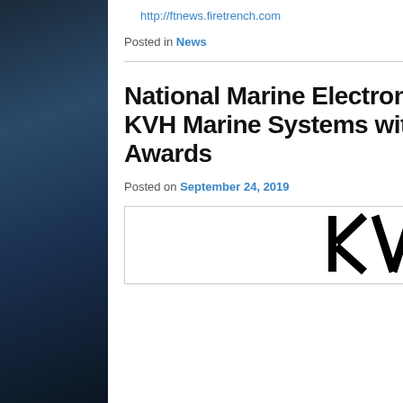http://ftnews.firetrench.com
Posted in News
National Marine Electronics Association Recognizes Three KVH Marine Systems with 2019 Product of Excellence Awards
Posted on September 24, 2019
[Figure (logo): KVH logo in large bold black text with registered trademark symbol]